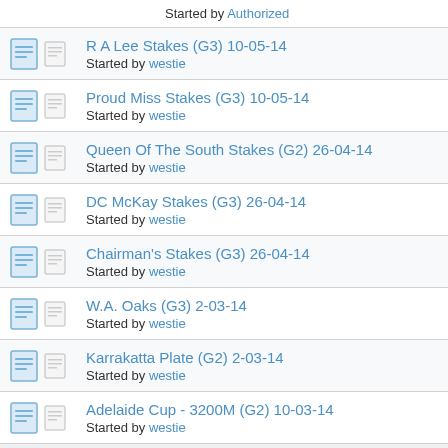Started by Authorized
R A Lee Stakes (G3) 10-05-14
Started by westie
Proud Miss Stakes (G3) 10-05-14
Started by westie
Queen Of The South Stakes (G2) 26-04-14
Started by westie
DC McKay Stakes (G3) 26-04-14
Started by westie
Chairman's Stakes (G3) 26-04-14
Started by westie
W.A. Oaks (G3) 2-03-14
Started by westie
Karrakatta Plate (G2) 2-03-14
Started by westie
Adelaide Cup - 3200M (G2) 10-03-14
Started by westie